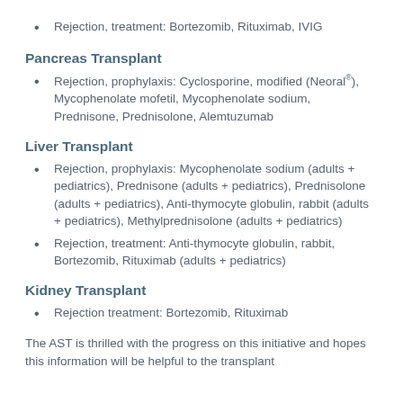Rejection, treatment: Bortezomib, Rituximab, IVIG
Pancreas Transplant
Rejection, prophylaxis: Cyclosporine, modified (Neoral®), Mycophenolate mofetil, Mycophenolate sodium, Prednisone, Prednisolone, Alemtuzumab
Liver Transplant
Rejection, prophylaxis: Mycophenolate sodium (adults + pediatrics), Prednisone (adults + pediatrics), Prednisolone (adults + pediatrics), Anti-thymocyte globulin, rabbit (adults + pediatrics), Methylprednisolone (adults + pediatrics)
Rejection, treatment: Anti-thymocyte globulin, rabbit, Bortezomib, Rituximab (adults + pediatrics)
Kidney Transplant
Rejection treatment: Bortezomib, Rituximab
The AST is thrilled with the progress on this initiative and hopes this information will be helpful to the transplant